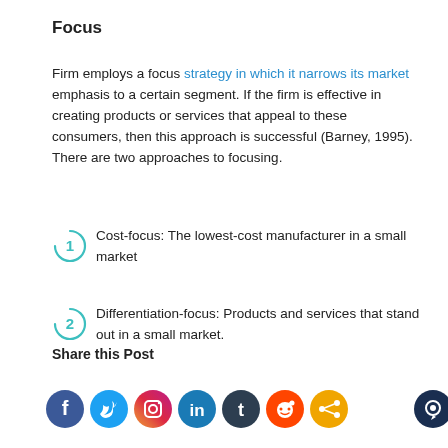Focus
Firm employs a focus strategy in which it narrows its market emphasis to a certain segment. If the firm is effective in creating products or services that appeal to these consumers, then this approach is successful (Barney, 1995). There are two approaches to focusing.
Cost-focus: The lowest-cost manufacturer in a small market
Differentiation-focus: Products and services that stand out in a small market.
Share this Post